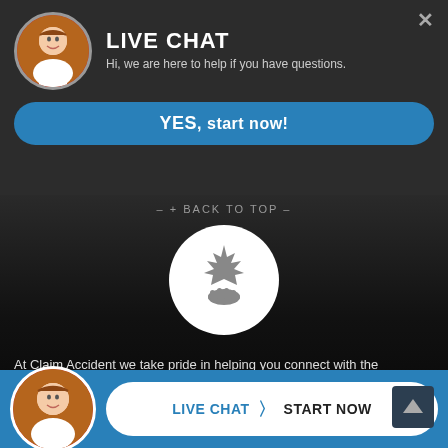LIVE CHAT
Hi, we are here to help if you have questions.
YES, start now!
– + BACK TO TOP –
[Figure (logo): Circular white logo with a maple leaf and hand icon in grey, representing Claim Accident services]
At Claim Accident we take pride in helping you connect with the necessary team of professionals who will listen and will guide you based on your individual needs every step of the way. It is our goal to ensu our cli it is filli
LIVE CHAT  START NOW